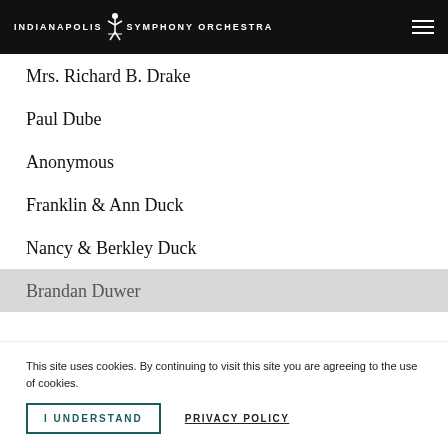INDIANAPOLIS SYMPHONY ORCHESTRA
Mrs. Richard B. Drake
Paul Dube
Anonymous
Franklin & Ann Duck
Nancy & Berkley Duck
Brandan Duwer
This site uses cookies. By continuing to visit this site you are agreeing to the use of cookies.
I UNDERSTAND
PRIVACY POLICY